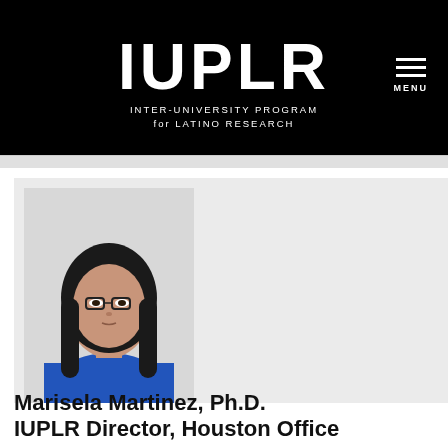[Figure (logo): IUPLR logo — white bold text 'IUPLR' with subtitle 'INTER-UNIVERSITY PROGRAM for LATINO RESEARCH' on black background]
[Figure (photo): Portrait photo of a woman with long dark hair and glasses wearing a blue top]
Marisela Martinez, Ph.D.
IUPLR Director, Houston Office
2552 Cullen Boulevard, AH 232